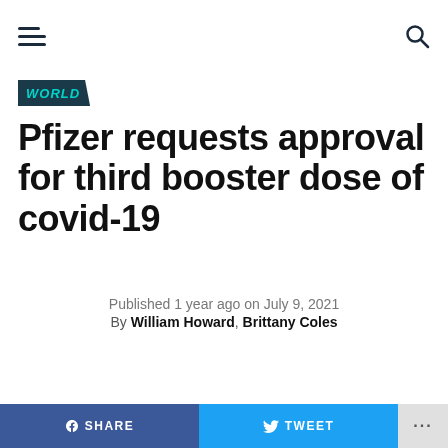Menu | Search
WORLD
Pfizer requests approval for third booster dose of covid-19
Published 1 year ago on July 9, 2021
By William Howard, Brittany Coles
SHARE | TWEET